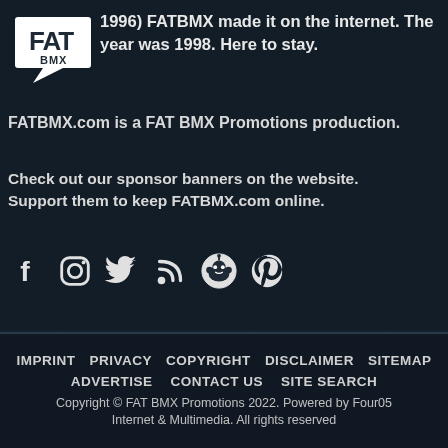[Figure (logo): FAT BMX logo — white speech bubble with 'FAT' text and 'BMX' below]
1996) FATBMX made it on the internet. The year was 1998. Here to stay.
FATBMX.com is a FAT BMX Promotions production.
Check out our sponsor banners on the website. Support them to keep FATBMX.com online.
[Figure (infographic): Social media icons row: Facebook, Instagram, Twitter, RSS, Reddit, Pinterest]
IMPRINT   PRIVACY   COPYRIGHT   DISCLAIMER   SITEMAP   ADVERTISE   CONTACT US   SITE SEARCH   Copyright © FAT BMX Promotions 2022. Powered by Four05 Internet & Multimedia. All rights reserved